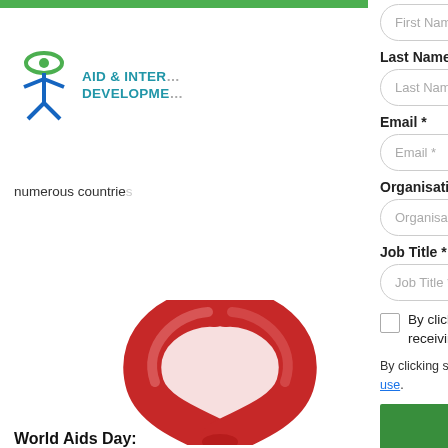[Figure (logo): Aid & International Development Forum logo with green eye/person icon and blue text]
numerous countries
[Figure (photo): Red AIDS awareness ribbon on white background]
World Aids Day:
First Name *
Last Name *
Email *
Organisation *
Job Title *
By clicking here you accept our Privacy Policy and agree to receiving our newsletter
By clicking submit you are consenting to our privacy policy and terms of use.
Subscribe